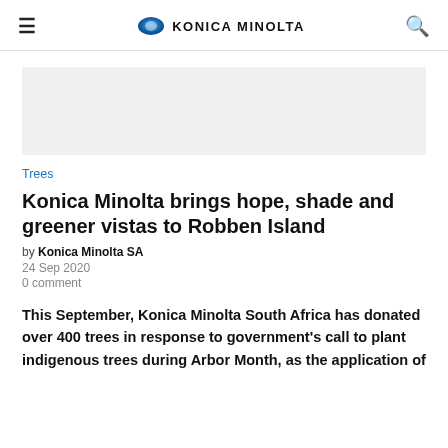≡  KONICA MINOLTA  🔍
[Figure (photo): Light grey rectangular image placeholder area]
Trees
Konica Minolta brings hope, shade and greener vistas to Robben Island
by Konica Minolta SA
24 Sep 2020
0 comment
This September, Konica Minolta South Africa has donated over 400 trees in response to government's call to plant indigenous trees during Arbor Month, as the application of